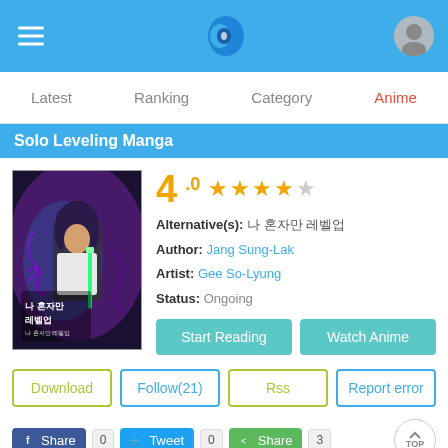Solo Leveling Manga App Header with hamburger, logo, avatar
Solo Leveling Manga
[Figure (illustration): Cover art of Solo Leveling manga showing dark-haired character with Korean text 나 혼자만 레벨업]
4 .0  ★★★★☆
Alternative(s): 나 혼자만 레벨업
Author: Jang Sung-Lak
Artist: Gee So-Lyung
Status: Ongoing
Start Reading   Watch Anime
Download   Follow(21)   Rss   Report error
Share 0   Tweet 0   Share 3
Genre(s): Action , Adventure
Navigation: Latest  Ranking  Category  Anime